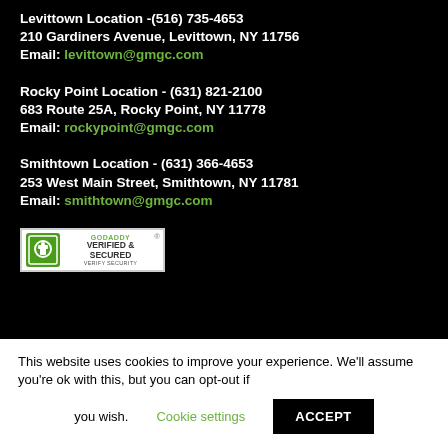Levittown Location -(516) 735-4653
210 Gardiners Avenue, Levittown, NY 11756
Email: levittown@gmgc.com
Rocky Point Location - (631) 821-2100
683 Route 25A, Rocky Point, NY 11778
Email: rockypoint@gmgc.com
Smithtown Location - (631) 366-4653
253 West Main Street, Smithtown, NY 11781
Email: smithtown@gmgc.com
[Figure (logo): GoDaddy Verified & Secured badge with green shield icon and text VERIFY SECURITY]
This website uses cookies to improve your experience. We'll assume you're ok with this, but you can opt-out if you wish. Cookie settings ACCEPT